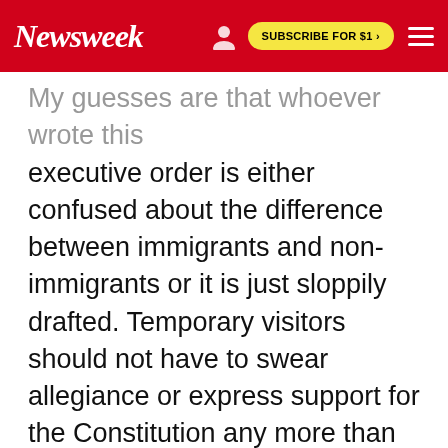Newsweek | SUBSCRIBE FOR $1 >
My guesses are that whoever wrote this executive order is either confused about the difference between immigrants and non-immigrants or it is just sloppily drafted. Temporary visitors should not have to swear allegiance or express support for the Constitution any more than an American should have to swear allegiance to or express my support for monarchy when visiting the United Kingdom.